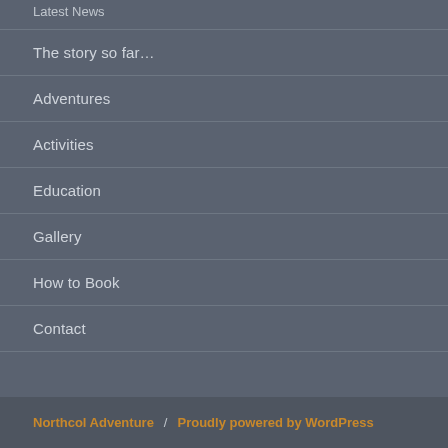Latest News
The story so far…
Adventures
Activities
Education
Gallery
How to Book
Contact
Northcol Adventure / Proudly powered by WordPress